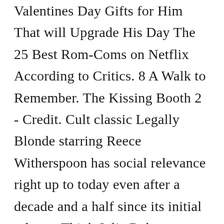Valentines Day Gifts for Him That will Upgrade His Day The 25 Best Rom-Coms on Netflix According to Critics. 8 A Walk to Remember. The Kissing Booth 2 - Credit. Cult classic Legally Blonde starring Reece Witherspoon has social relevance right up to today even after a decade and a half since its initial release. Think Julia Roberts Ashton Kutcher Jennifer Garner Jessica Alba. The best romantic movies on Netflix this Valentines Day About Time Richard Curtis is the undisputed king of romantic movies with films.